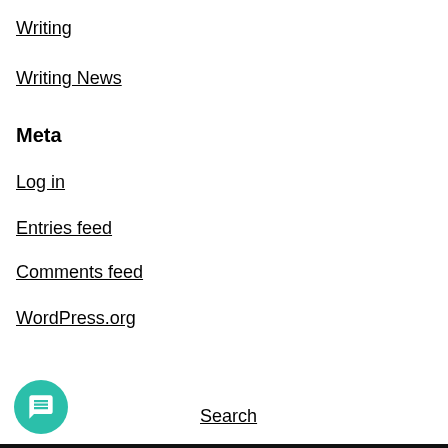Writing
Writing News
Meta
Log in
Entries feed
Comments feed
WordPress.org
Search